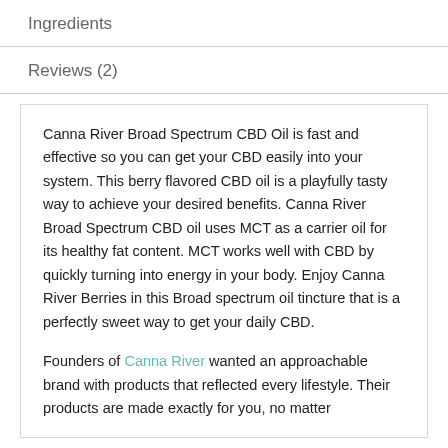Ingredients
Reviews (2)
Canna River Broad Spectrum CBD Oil is fast and effective so you can get your CBD easily into your system. This berry flavored CBD oil is a playfully tasty way to achieve your desired benefits. Canna River Broad Spectrum CBD oil uses MCT as a carrier oil for its healthy fat content. MCT works well with CBD by quickly turning into energy in your body. Enjoy Canna River Berries in this Broad spectrum oil tincture that is a perfectly sweet way to get your daily CBD.
Founders of Canna River wanted an approachable brand with products that reflected every lifestyle. Their products are made exactly for you, no matter